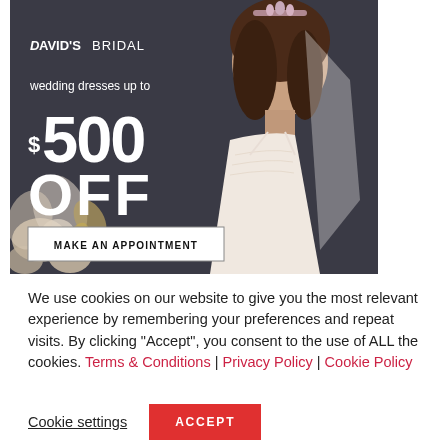[Figure (illustration): David's Bridal advertisement banner showing a woman in a wedding dress with floral decorations. Dark background with text: David's Bridal logo, 'wedding dresses up to $500 OFF', and a 'MAKE AN APPOINTMENT' call-to-action button.]
We use cookies on our website to give you the most relevant experience by remembering your preferences and repeat visits. By clicking “Accept”, you consent to the use of ALL the cookies. Terms & Conditions | Privacy Policy | Cookie Policy
Cookie settings
ACCEPT